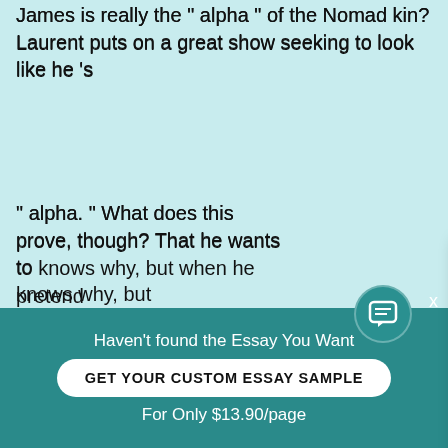James is really the “ alpha ” of the Nomad kin? Laurent puts on a great show seeking to look like he’s
“ alpha. ” What does this prove, though? That he wants to… knows why, but… when he pretend…
In the film, Laur… alpha, ” but the… we get is when L… James is, “ lethal… Laurent’s film c…
[Figure (screenshot): Chat popup with avatar photo of smiling woman, teal header saying 'Hi! I'm Alina', body text 'Would you like to get such a paper? How about receiving a customized one?' and bold underlined link 'Check it out', with X close button]
Haven’t found the Essay You Want
GET YOUR CUSTOM ESSAY SAMPLE
For Only $13.90/page